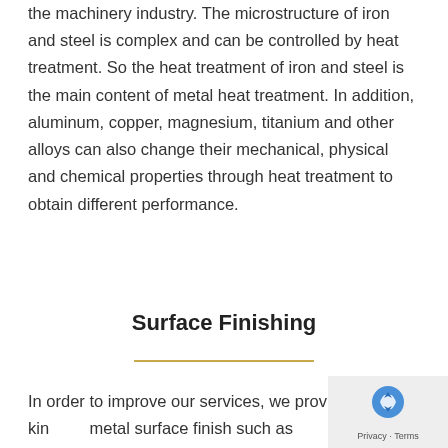the machinery industry. The microstructure of iron and steel is complex and can be controlled by heat treatment. So the heat treatment of iron and steel is the main content of metal heat treatment. In addition, aluminum, copper, magnesium, titanium and other alloys can also change their mechanical, physical and chemical properties through heat treatment to obtain different performance.
Surface Finishing
In order to improve our services, we provide many kinds of metal surface finish such as Zinc/nickel/chrome plating, e-